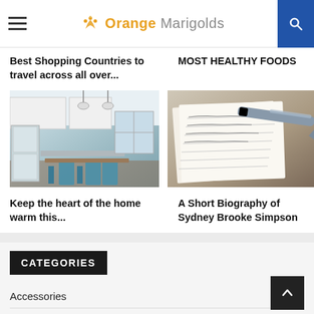Orange Marigolds
Best Shopping Countries to travel across all over...
MOST HEALTHY FOODS
[Figure (photo): Interior of a modern kitchen with white cabinets, pendant lights, and blue chairs around a dining table]
[Figure (photo): Close-up of a journal or notebook with handwritten text and a pen resting on it]
Keep the heart of the home warm this...
A Short Biography of Sydney Brooke Simpson
CATEGORIES
Accessories
Beauty Tips (48)